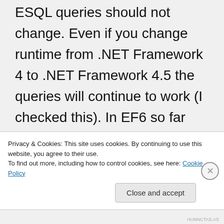ESQL queries should not change. Even if you change runtime from .NET Framework 4 to .NET Framework 4.5 the queries will continue to work (I checked this). In EF6 so far there has not been any changes to the way the views are generated or to the mapping layer (EF6 uses
Privacy & Cookies: This site uses cookies. By continuing to use this website, you agree to their use.
To find out more, including how to control cookies, see here: Cookie Policy
Close and accept
HUNNCTAS.AS